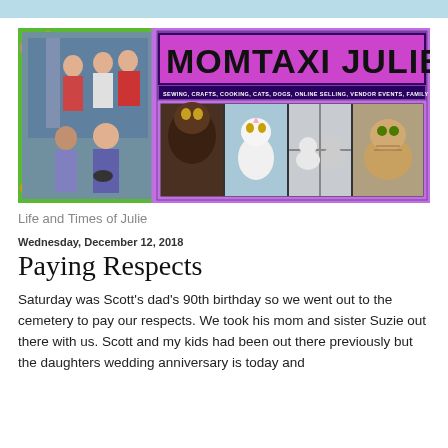[Figure (photo): MomTaxi Julie blog banner with family photo on the left and cats photos on the right, purple background with blog title 'MOMTAXI JULIE' and subtitle 'SEWING, CRAFTS, COOKING, CATS, DOGS, ONLINE SELLING, VENDOR EVENTS, FAMILY & CHAOS']
Life and Times of Julie
Wednesday, December 12, 2018
Paying Respects
Saturday was Scott's dad's 90th birthday so we went out to the cemetery to pay our respects. We took his mom and sister Suzie out there with us. Scott and my kids had been out there previously but the daughters wedding anniversary is today and